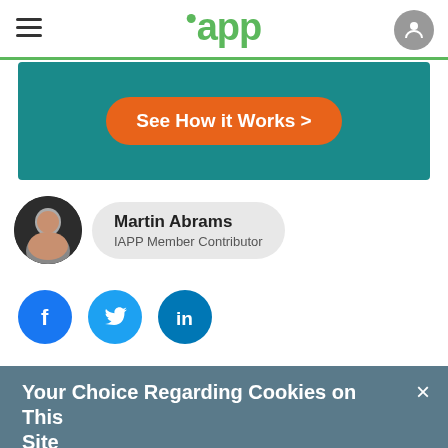iapp
[Figure (screenshot): Advertisement banner with teal background and orange button reading 'See How it Works >']
Martin Abrams
IAPP Member Contributor
[Figure (infographic): Social sharing icons: Facebook, Twitter, LinkedIn]
Your Choice Regarding Cookies on This Site
The IAPP uses cookies to give users like yourself the best possible content and experience. Learn more
Manage Cookies    Accept